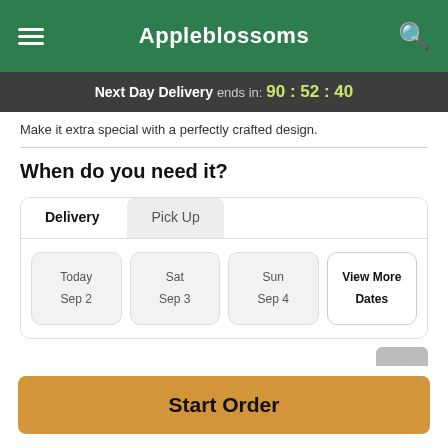Appleblossoms
Next Day Delivery ends in: 90 : 52 : 40
Make it extra special with a perfectly crafted design.
When do you need it?
Delivery | Pick Up
Today Sep 2 | Sat Sep 3 | Sun Sep 4 | View More Dates
Guaranteed SAFE Checkout
Start Order